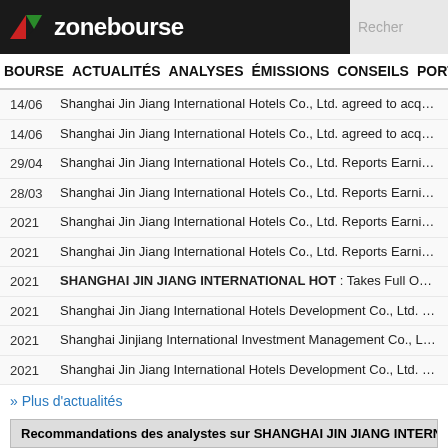zonebourse — navigation: BOURSE ACTUALITÉS ANALYSES ÉMISSIONS CONSEILS PORTEF...
14/06 Shanghai Jin Jiang International Hotels Co., Ltd. agreed to acquire additio...
14/06 Shanghai Jin Jiang International Hotels Co., Ltd. agreed to acquire a 10%...
29/04 Shanghai Jin Jiang International Hotels Co., Ltd. Reports Earnings Results...
28/03 Shanghai Jin Jiang International Hotels Co., Ltd. Reports Earnings Results...
2021 Shanghai Jin Jiang International Hotels Co., Ltd. Reports Earnings Results...
2021 Shanghai Jin Jiang International Hotels Co., Ltd. Reports Earnings Results...
2021 SHANGHAI JIN JIANG INTERNATIONAL HOT : Takes Full Ownership of...
2021 Shanghai Jin Jiang International Hotels Development Co., Ltd. entered into...
2021 Shanghai Jinjiang International Investment Management Co., Ltd. cancelle...
2021 Shanghai Jin Jiang International Hotels Development Co., Ltd. Reports Ea...
» Plus d'actualités
Recommandations des analystes sur SHANGHAI JIN JIANG INTERNATIONA...
31/03 SHANGHAI JIN JIANG INTERNATIONAL HOT : UBS persiste à l'achat
» Plus de recommandations